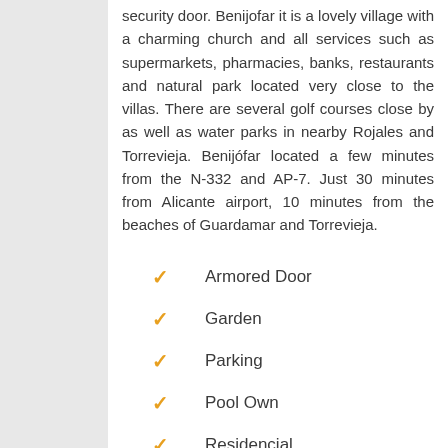security door. Benijofar it is a lovely village with a charming church and all services such as supermarkets, pharmacies, banks, restaurants and natural park located very close to the villas. There are several golf courses close by as well as water parks in nearby Rojales and Torrevieja. Benijófar located a few minutes from the N-332 and AP-7. Just 30 minutes from Alicante airport, 10 minutes from the beaches of Guardamar and Torrevieja.
Armored Door
Garden
Parking
Pool Own
Residencial